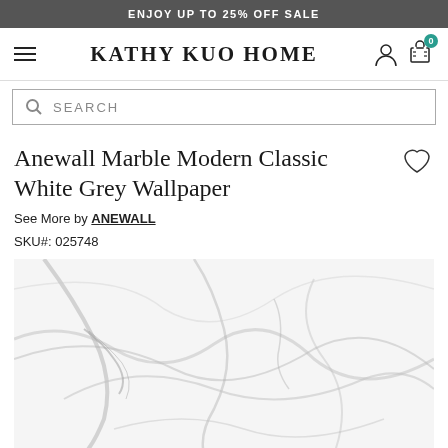ENJOY UP TO 25% OFF SALE
KATHY KUO HOME
SEARCH
Anewall Marble Modern Classic White Grey Wallpaper
See More by ANEWALL
SKU#: 025748
[Figure (photo): Close-up photo of white and grey marble texture wallpaper showing veining patterns]